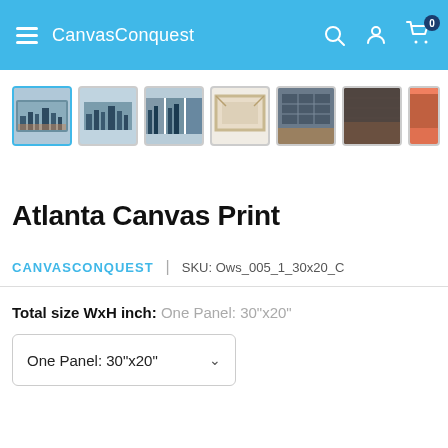CanvasConquest
[Figure (screenshot): Thumbnail strip of Atlanta Canvas Print product images: 7 thumbnails showing various views of the canvas print product, first thumbnail selected with blue border]
Atlanta Canvas Print
CANVASCONQUEST | SKU: Ows_005_1_30x20_C
Total size WxH inch: One Panel: 30"x20"
One Panel: 30"x20"